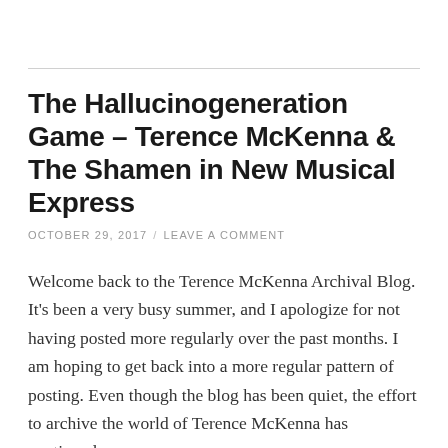The Hallucinogeneration Game – Terence McKenna & The Shamen in New Musical Express
OCTOBER 29, 2017  /  LEAVE A COMMENT
Welcome back to the Terence McKenna Archival Blog. It's been a very busy summer, and I apologize for not having posted more regularly over the past months. I am hoping to get back into a more regular pattern of posting. Even though the blog has been quiet, the effort to archive the world of Terence McKenna has continued